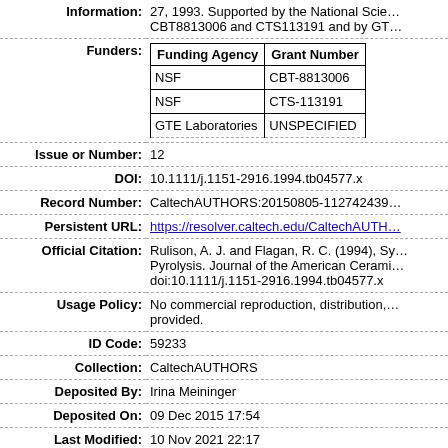| Label | Value |
| --- | --- |
| Information: | 27, 1993. Supported by the National Scie… CBT8813006 and CTS113191 and by GT… |
| Funders: | [[Funding Agency, Grant Number], [NSF, CBT-8813006], [NSF, CTS-113191], [GTE Laboratories, UNSPECIFIED]] |
| Issue or Number: | 12 |
| DOI: | 10.1111/j.1151-2916.1994.tb04577.x |
| Record Number: | CaltechAUTHORS:20150805-112742439… |
| Persistent URL: | https://resolver.caltech.edu/CaltechAUTH… |
| Official Citation: | Rulison, A. J. and Flagan, R. C. (1994), Sy… Pyrolysis. Journal of the American Cerami… doi:10.1111/j.1151-2916.1994.tb04577.x |
| Usage Policy: | No commercial reproduction, distribution,… provided. |
| ID Code: | 59233 |
| Collection: | CaltechAUTHORS |
| Deposited By: | Irina Meininger |
| Deposited On: | 09 Dec 2015 17:54 |
| Last Modified: | 10 Nov 2021 22:17 |